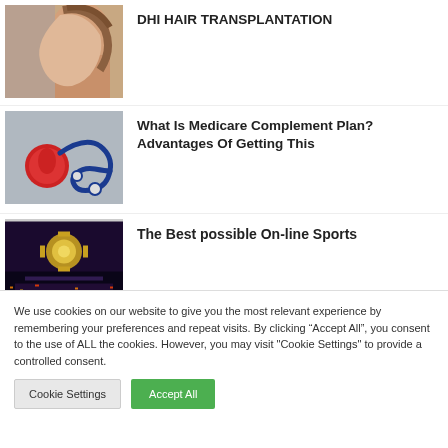[Figure (photo): Person touching their head/hair, viewed from behind]
DHI HAIR TRANSPLANTATION
[Figure (photo): Stethoscope and red heart on table - medical theme]
What Is Medicare Complement Plan? Advantages Of Getting This
[Figure (photo): Casino or entertainment venue with colorful lights at night]
The Best possible On-line Sports
We use cookies on our website to give you the most relevant experience by remembering your preferences and repeat visits. By clicking “Accept All”, you consent to the use of ALL the cookies. However, you may visit "Cookie Settings" to provide a controlled consent.
Cookie Settings
Accept All